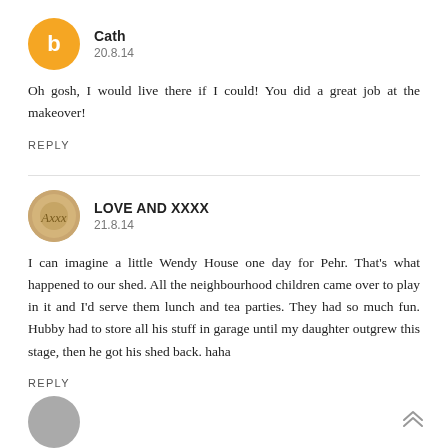[Figure (other): Orange circle avatar with white letter B for commenter Cath]
Cath
20.8.14
Oh gosh, I would live there if I could! You did a great job at the makeover!
REPLY
[Figure (other): Circular avatar image with decorative gold/beige pattern for LOVE AND XXXX]
LOVE AND XXXX
21.8.14
I can imagine a little Wendy House one day for Pehr. That's what happened to our shed. All the neighbourhood children came over to play in it and I'd serve them lunch and tea parties. They had so much fun. Hubby had to store all his stuff in garage until my daughter outgrew this stage, then he got his shed back. haha
REPLY